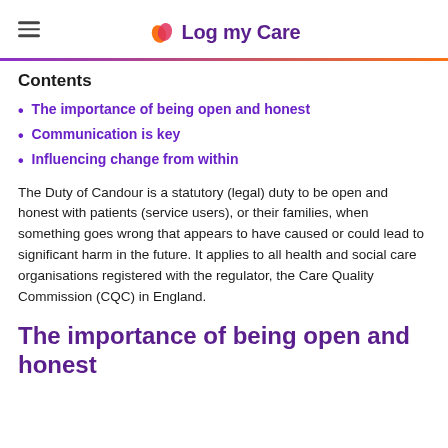Log my Care
Contents
The importance of being open and honest
Communication is key
Influencing change from within
The Duty of Candour is a statutory (legal) duty to be open and honest with patients (service users), or their families, when something goes wrong that appears to have caused or could lead to significant harm in the future. It applies to all health and social care organisations registered with the regulator, the Care Quality Commission (CQC) in England.
The importance of being open and honest